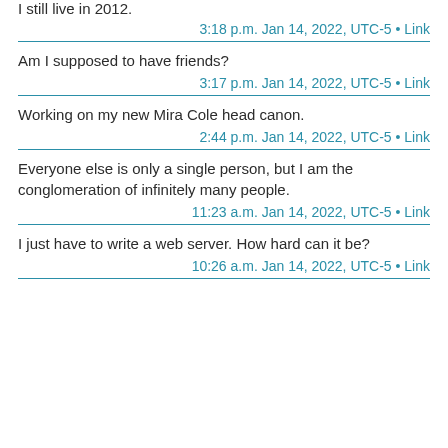I still live in 2012.
3:18 p.m. Jan 14, 2022, UTC-5 • Link
Am I supposed to have friends?
3:17 p.m. Jan 14, 2022, UTC-5 • Link
Working on my new Mira Cole head canon.
2:44 p.m. Jan 14, 2022, UTC-5 • Link
Everyone else is only a single person, but I am the conglomeration of infinitely many people.
11:23 a.m. Jan 14, 2022, UTC-5 • Link
I just have to write a web server. How hard can it be?
10:26 a.m. Jan 14, 2022, UTC-5 • Link